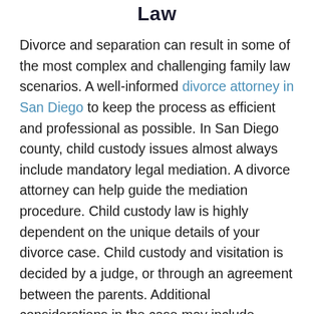Law
Divorce and separation can result in some of the most complex and challenging family law scenarios. A well-informed divorce attorney in San Diego to keep the process as efficient and professional as possible. In San Diego county, child custody issues almost always include mandatory legal mediation. A divorce attorney can help guide the mediation procedure. Child custody law is highly dependent on the unique details of your divorce case. Child custody and visitation is decided by a judge, or through an agreement between the parents. Additional considerations in the case may include military orders, geographical relocation, sickness, and financial considerations. Learn more about Child Custody or schedule a complimentary